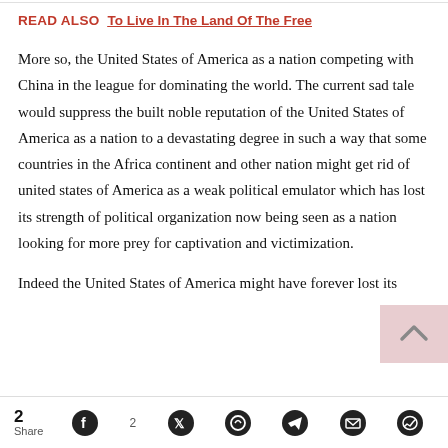READ ALSO  To Live In The Land Of The Free
More so, the United States of America as a nation competing with China in the league for dominating the world. The current sad tale would suppress the built noble reputation of the United States of America as a nation to a devastating degree in such a way that some countries in the Africa continent and other nation might get rid of united states of America as a weak political emulator which has lost its strength of political organization now being seen as a nation looking for more prey for captivation and victimization.
Indeed the United States of America might have forever lost its
2 Share  [Facebook 2] [Twitter] [WhatsApp] [Telegram] [Email] [Messenger]